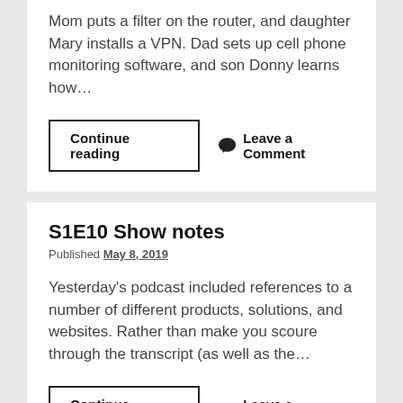Mom puts a filter on the router, and daughter Mary installs a VPN. Dad sets up cell phone monitoring software, and son Donny learns how…
Continue reading
Leave a Comment
S1E10 Show notes
Published May 8, 2019
Yesterday's podcast included references to a number of different products, solutions, and websites. Rather than make you scoure through the transcript (as well as the…
Continue reading
Leave a Comment